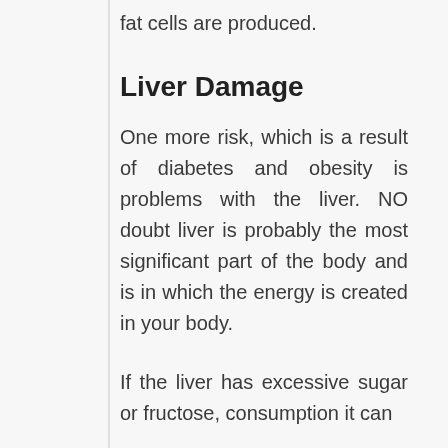fat cells are produced.
Liver Damage
One more risk, which is a result of diabetes and obesity is problems with the liver. NO doubt liver is probably the most significant part of the body and is in which the energy is created in your body.
If the liver has excessive sugar or fructose, consumption it can